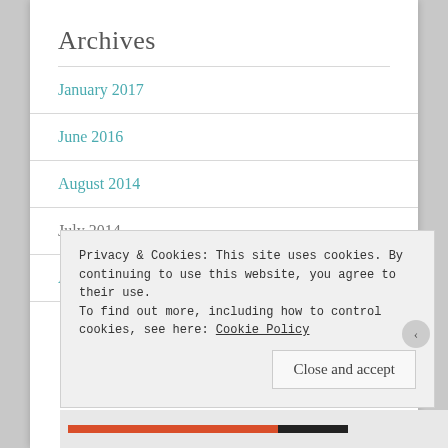Archives
January 2017
June 2016
August 2014
July 2014
April 2014
Privacy & Cookies: This site uses cookies. By continuing to use this website, you agree to their use. To find out more, including how to control cookies, see here: Cookie Policy
Close and accept